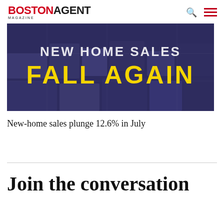BOSTON AGENT MAGAZINE
[Figure (photo): Dark blue/purple aerial view of neighborhood with bold text overlay reading 'NEW HOME SALES FALL AGAIN' in white and yellow on a dark indigo background]
New-home sales plunge 12.6% in July
Join the conversation